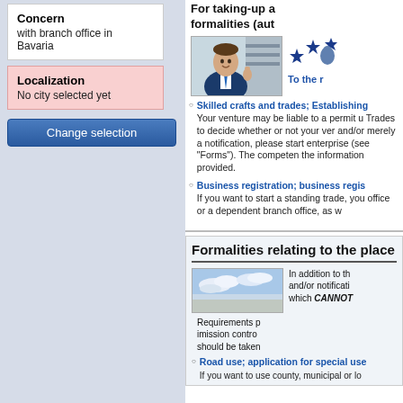Concern
with branch office in Bavaria
Localization
No city selected yet
Change selection
For taking-up a formalities (aut
[Figure (photo): Man in suit giving thumbs up in office setting]
To the r
Skilled crafts and trades; Establishing
Your venture may be liable to a permit u Trades to decide whether or not your ver and/or merely a notification, please start enterprise (see “Forms”). The competen the information provided.
Business registration; business regis If you want to start a standing trade, you office or a dependent branch office, as w
Formalities relating to the place
[Figure (photo): Sky with clouds photo]
In addition to th and/or notificati which CANNOT
Requirements p imission contro should be taken
Road use; application for special use If you want to use county, municipal or lo